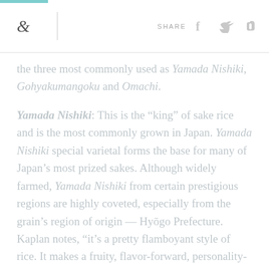& | SHARE
the three most commonly used as Yamada Nishiki, Gohyakumangoku and Omachi.
Yamada Nishiki: This is the “king” of sake rice and is the most commonly grown in Japan. Yamada Nishiki special varietal forms the base for many of Japan’s most prized sakes. Although widely farmed, Yamada Nishiki from certain prestigious regions are highly coveted, especially from the grain’s region of origin — Hyōgo Prefecture. Kaplan notes, “it’s a pretty flamboyant style of rice. It makes a fruity, flavor-forward, personality-filled style of sake.”